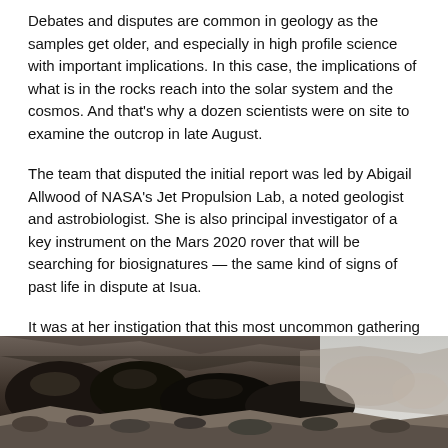Debates and disputes are common in geology as the samples get older, and especially in high profile science with important implications. In this case, the implications of what is in the rocks reach into the solar system and the cosmos. And that's why a dozen scientists were on site to examine the outcrop in late August.
The team that disputed the initial report was led by Abigail Allwood of NASA's Jet Propulsion Lab, a noted geologist and astrobiologist. She is also principal investigator of a key instrument on the Mars 2020 rover that will be searching for biosignatures — the same kind of signs of past life in dispute at Isua.
It was at her instigation that this most uncommon gathering was planned, bringing together the scientific rivals as well as ten other scientists to meet at the distant outcrop to examine the putative stromatolites together, to study the geological and geochemical context and to later present their cases.
[Figure (photo): Photograph of rocky outcrop with dark stones and boulders, showing geological formations against a light sky background.]